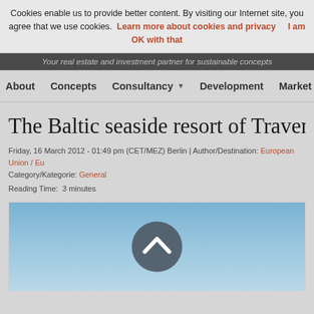Cookies enable us to provide better content. By visiting our Internet site, you agree that we use cookies. Learn more about cookies and privacy  I am OK with that
Your real estate and investment partner for sustainable concepts
About  Concepts  Consultancy ▼  Development  Marketing
The Baltic seaside resort of Travemün...
Friday, 16 March 2012 - 01:49 pm (CET/MEZ) Berlin | Author/Destination: European Union / Eu... Category/Kategorie: General
Reading Time:  3 minutes
[Figure (photo): Blue sky photo with a dark chevron-up circle icon overlay, partial view of a seaside resort image]